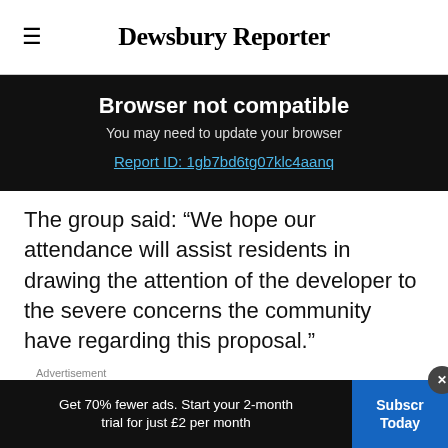Dewsbury Reporter
Browser not compatible
You may need to update your browser
Report ID: 1gb7bd6tg07klc4aanq
The group said: “We hope our attendance will assist residents in drawing the attention of the developer to the severe concerns the community have regarding this proposal.”
[Figure (screenshot): Advertisement banner with Yahoo Search sponsored result: 1. Performance Evaluation Tool]
Get 70% fewer ads. Start your 2-month trial for just £2 per month
Subscribe Today